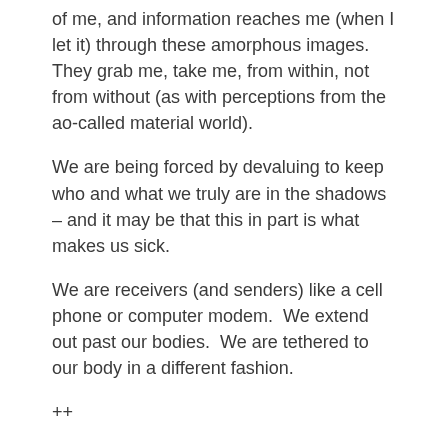of me, and information reaches me (when I let it) through these amorphous images.  They grab me, take me, from within, not from without (as with perceptions from the ao-called material world).
We are being forced by devaluing to keep who and what we truly are in the shadows – and it may be that this in part is what makes us sick.
We are receivers (and senders) like a cell phone or computer modem.  We extend out past our bodies.  We are tethered to our body in a different fashion.
++
I can feel ER around me here in the house.  I believe he is a Sensitive, but is not consciously aware of this.  (I don't think many Sensitives are.)  I like it that